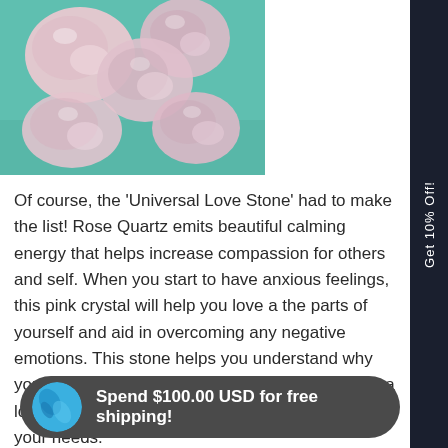[Figure (photo): Several pale pink/rose quartz tumbled stones arranged on a light teal/turquoise background]
Of course, the 'Universal Love Stone' had to make the list! Rose Quartz emits beautiful calming energy that helps increase compassion for others and self. When you start to have anxious feelings, this pink crystal will help you love all the parts of yourself and aid in overcoming any negative emotions. This stone helps you understand why you are feeling stress or depression and vibrates a love frequency to help you learn to care and tend to your needs.
Spend $100.00 USD for free shipping!